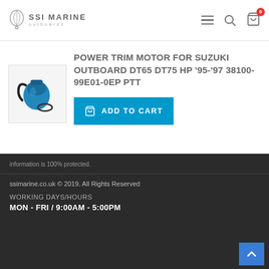SSI MARINE outboards
POWER TRIM MOTOR FOR SUZUKI OUTBOARD DT65 DT75 HP '95-'97 38100-99E01-0EP PTT
[Figure (photo): Product image of a power trim motor with blue cable and O-rings]
ADD TO CART
information is 100% protected.
ssimarine.co.uk © 2019. All Rights Reserved
WORKING DAYS/HOURS
MON - FRI / 9:00AM - 5:00PM